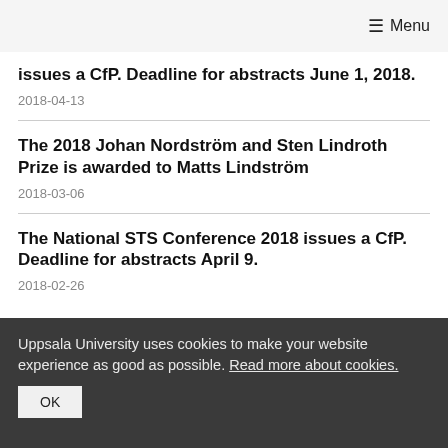≡ Menu
issues a CfP. Deadline for abstracts June 1, 2018.
2018-04-13
The 2018 Johan Nordström and Sten Lindroth Prize is awarded to Matts Lindström
2018-03-06
The National STS Conference 2018 issues a CfP. Deadline for abstracts April 9.
2018-02-26
Uppsala University uses cookies to make your website experience as good as possible. Read more about cookies.